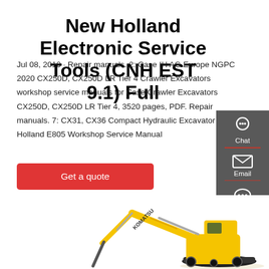New Holland Electronic Service Tools (CNH EST 9.1) Full
Jul 08, 2010 · Repair manuals. 2: Case IH AG Europe NGPC 2020 CX250D, CX250D LR Tier 4 Crawler Excavators workshop service manuals for Case Crawler Excavators CX250D, CX250D LR Tier 4, 3520 pages, PDF. Repair manuals. 7: CX31, CX36 Compact Hydraulic Excavator New Holland E805 Workshop Service Manual
[Figure (other): Red 'Get a quote' call-to-action button]
[Figure (infographic): Dark grey side panel with Chat (headset icon), Email (envelope icon), and Contact (speech bubble icon) buttons]
[Figure (photo): Yellow Komatsu crawler excavator on white background]